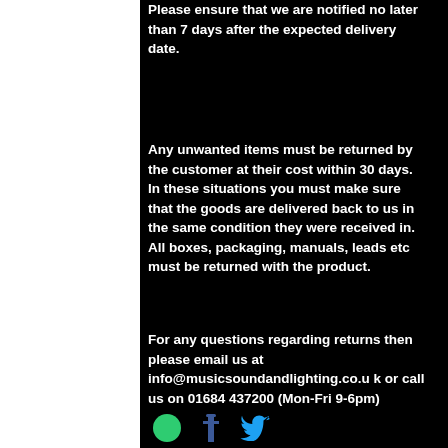Please ensure that we are notified no later than 7 days after the expected delivery date.
Any unwanted items must be returned by the customer at their cost within 30 days. In these situations you must make sure that the goods are delivered back to us in the same condition they were received in. All boxes, packaging, manuals, leads etc must be returned with the product.
For any questions regarding returns then please email us at info@musicsoundandlighting.co.uk or call us on 01684 437200 (Mon-Fri 9-6pm)
[Figure (other): Social media icons: green circle, Facebook icon, Twitter bird icon]